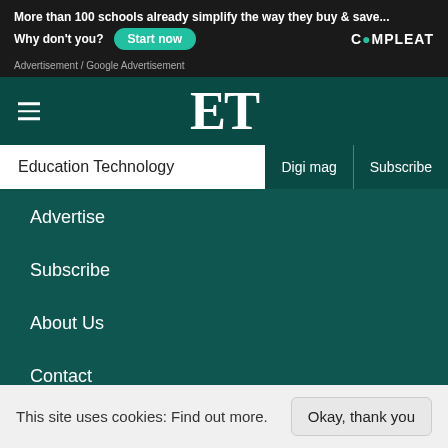[Figure (screenshot): Advertisement banner for Compleat: 'More than 100 schools already simplify the way they buy & save... Why don't you? Start now' button and Compleat logo]
Advertisement / Google Advertisement
[Figure (logo): ET (Education Technology) logo in white serif font on dark teal background with hamburger menu icon]
Education Technology | Digi mag | Subscribe
Advertise
Subscribe
About Us
Contact
Privacy Policy
This site uses cookies: Find out more.  Okay, thank you